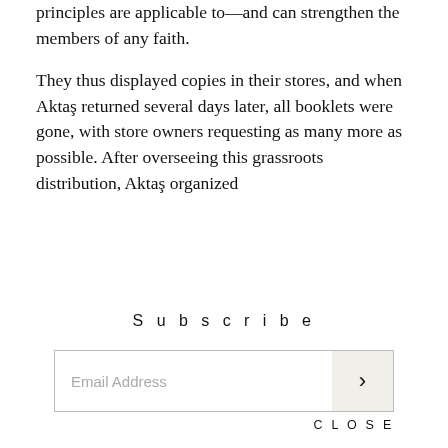principles are applicable to—and can strengthen the members of any faith.
They thus displayed copies in their stores, and when Aktaş returned several days later, all booklets were gone, with store owners requesting as many more as possible. After overseeing this grassroots distribution, Aktaş organized
Subscribe
[Figure (other): Email address input field with submit arrow button]
CLOSE
throughout Istanbul. He plans to present the program and distribute booklets to his team at the Ministry to coordinate delivery accross the country.
An Istanbul Deputy Governor and his team also received a presentation and were eager to look further into the program and collaborate with the Ministry of Education on